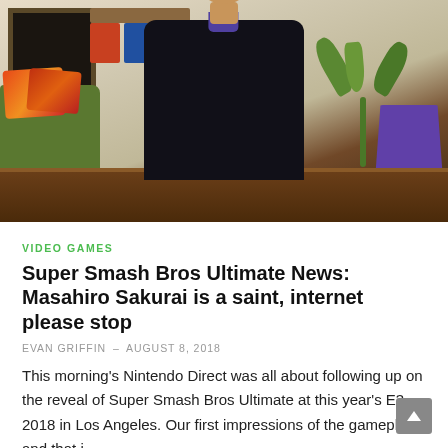[Figure (photo): A person wearing a dark shirt seated behind a wooden desk/table, with a couch with colorful pillows on the left, a plant in the background, and a purple chair on the right side of the frame. Modern interior setting.]
VIDEO GAMES
Super Smash Bros Ultimate News: Masahiro Sakurai is a saint, internet please stop
EVAN GRIFFIN – AUGUST 8, 2018
This morning's Nintendo Direct was all about following up on the reveal of Super Smash Bros Ultimate at this year's E3 2018 in Los Angeles. Our first impressions of the gameplay and that i…